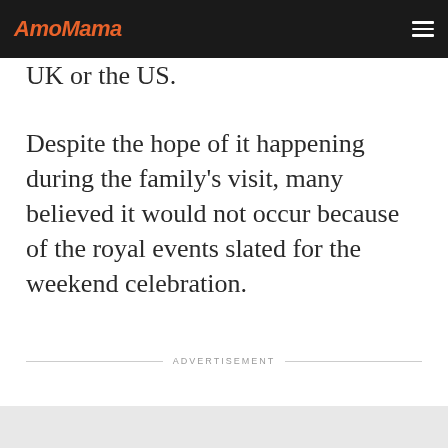AmoMama
UK or the US.
Despite the hope of it happening during the family's visit, many believed it would not occur because of the royal events slated for the weekend celebration.
ADVERTISEMENT